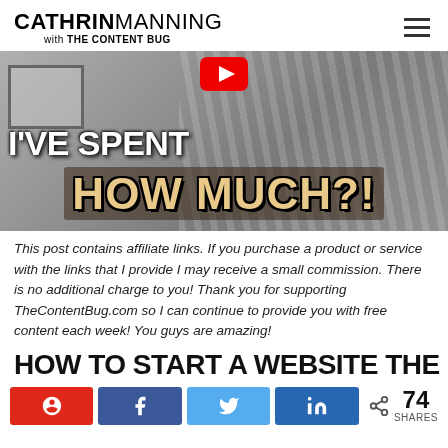CATHRIN MANNING with THE CONTENT BUG
[Figure (photo): Thumbnail image with text overlay: I'VE SPENT HOW MUCH?! — woman in striped top with YouTube icon overlay]
This post contains affiliate links. If you purchase a product or service with the links that I provide I may receive a small commission. There is no additional charge to you! Thank you for supporting TheContentBug.com so I can continue to provide you with free content each week! You guys are amazing!
HOW TO START A WEBSITE THE